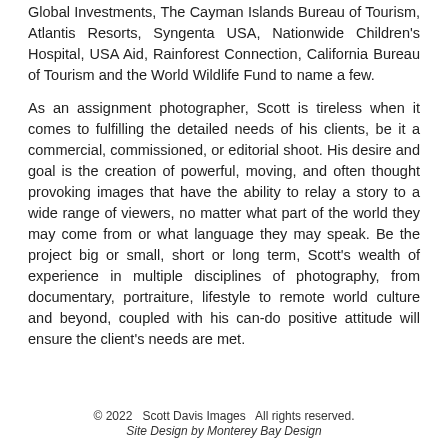Global Investments, The Cayman Islands Bureau of Tourism, Atlantis Resorts, Syngenta USA, Nationwide Children's Hospital, USA Aid, Rainforest Connection, California Bureau of Tourism and the World Wildlife Fund to name a few.
As an assignment photographer, Scott is tireless when it comes to fulfilling the detailed needs of his clients, be it a commercial, commissioned, or editorial shoot. His desire and goal is the creation of powerful, moving, and often thought provoking images that have the ability to relay a story to a wide range of viewers, no matter what part of the world they may come from or what language they may speak. Be the project big or small, short or long term, Scott's wealth of experience in multiple disciplines of photography, from documentary, portraiture, lifestyle to remote world culture and beyond, coupled with his can-do positive attitude will ensure the client's needs are met.
© 2022   Scott Davis Images   All rights reserved.
Site Design by Monterey Bay Design